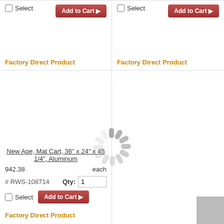[Figure (screenshot): E-commerce product listing grid with two columns and two rows. Top row shows two product cells each with Select checkbox, Add to Cart button, and Factory Direct Product label. Bottom-left cell shows a product listing for 'New Age, Mat Cart, 36" x 24" x 45 1/4", Aluminum' priced at 942.38 each, SKU # RWS-108714, with Qty field, Add to Cart button, and Factory Direct Product label. A loading spinner graphic overlays the center. Bottom-right cell is mostly empty with a gray box in the corner.]